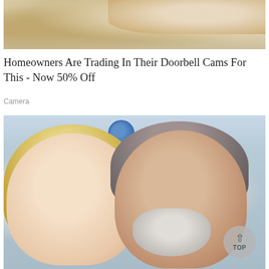[Figure (photo): Close-up photo of hands holding an object, blurred background with sandy/earthy tones]
Homeowners Are Trading In Their Doorbell Cams For This - Now 50% Off
Camera
[Figure (photo): Photo of a smiling blonde woman and an older man with gray hair and beard posing together in front of an AT&T branded backdrop]